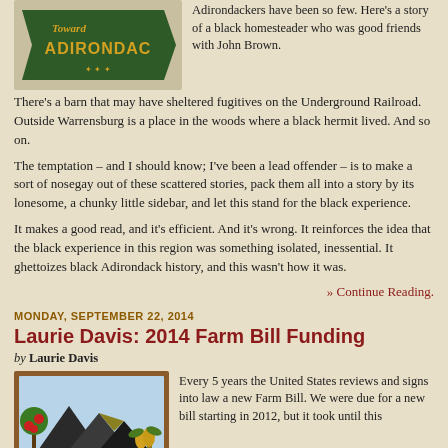[Figure (illustration): Adirondack sign with gold text on dark green background reading 'Toward Adirondacks']
Adirondackers have been so few. Here's a story of a black homesteader who was good friends with John Brown. There's a barn that may have sheltered fugitives on the Underground Railroad. Outside Warrensburg is a place in the woods where a black hermit lived. And so on.
The temptation – and I should know; I've been a lead offender – is to make a sort of nosegay out of these scattered stories, pack them all into a story by its lonesome, a chunky little sidebar, and let this stand for the black experience.
It makes a good read, and it's efficient. And it's wrong. It reinforces the idea that the black experience in this region was something isolated, inessential. It ghettoizes black Adirondack history, and this wasn't how it was.
» Continue Reading.
MONDAY, SEPTEMBER 22, 2014
Laurie Davis: 2014 Farm Bill Funding
by Laurie Davis
[Figure (illustration): Illustration of Adirondack mountains with apple trees and corn, framed with a brown border]
Every 5 years the United States reviews and signs into law a new Farm Bill. We were due for a new bill starting in 2012, but it took until this